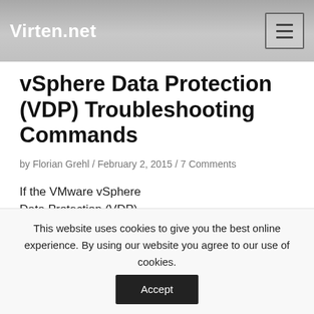Virten.net
vSphere Data Protection (VDP) Troubleshooting Commands
by Florian Grehl / February 2, 2015 / 7 Comments
If the VMware vSphere Data Protection (VDP) appliance has
[Figure (illustration): Stacked translucent blue panels with orange arrow markers pointing downward, representing data protection layers or backup tiers.]
This website uses cookies to give you the best online experience. By using our website you agree to our use of cookies.